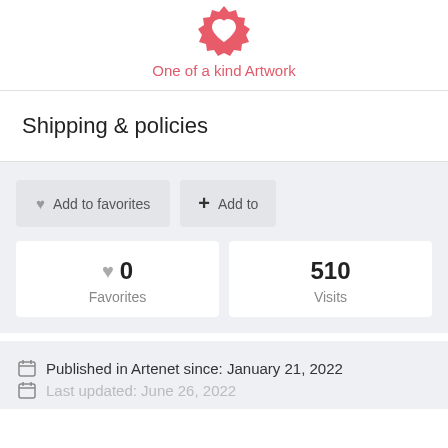[Figure (illustration): Red gear/badge icon representing 'One of a kind Artwork']
One of a kind Artwork
Shipping & policies
Add to favorites
Add to
0 Favorites
510 Visits
Published in Artenet since: January 21, 2022